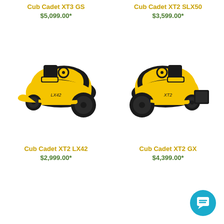Cub Cadet XT3 GS
$5,099.00*
Cub Cadet XT2 SLX50
$3,599.00*
[Figure (photo): Yellow and black Cub Cadet XT2 LX42 riding lawn tractor, facing right, on white background]
[Figure (photo): Yellow and black Cub Cadet XT2 GX riding lawn tractor, facing left, on white background]
Cub Cadet XT2 LX42
$2,999.00*
Cub Cadet XT2 GX
$4,399.00*